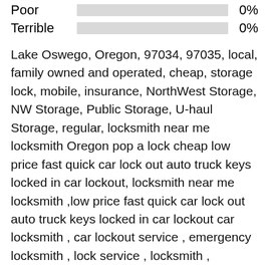[Figure (bar-chart): ]
Lake Oswego, Oregon, 97034, 97035, local, family owned and operated, cheap, storage lock, mobile, insurance, NorthWest Storage, NW Storage, Public Storage, U-haul Storage, regular, locksmith near me locksmith Oregon pop a lock cheap low price fast quick car lock out auto truck keys locked in car lockout, locksmith near me locksmith ,low price fast quick car lock out auto truck keys locked in car lockout car locksmith , car lockout service , emergency locksmith , lock service , locksmith , locksmith for cars , vehicle locksmith , auto locksmith , car locksmith , locksmith , locksmith , aa locksmith , able locksmith , accurate locksmith , action locksmith , advanced locksmith , affordable locksmith , all American locksmith , rental, apartment building locksmith , area locksmith , asap locksmith , auto key locksmith near me , auto keys made , auto lockouts , auto locksmith ,